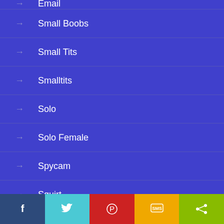→ Email
→ Small Boobs
→ Small Tits
→ Smalltits
→ Solo
→ Solo Female
→ Spycam
→ Squirt
→ Squirting
Facebook Twitter Pinterest SMS Share